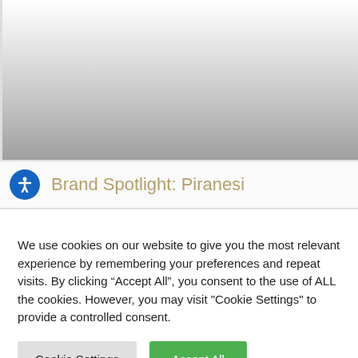[Figure (photo): Blurred/grey image area at the top of the page, partially visible]
Brand Spotlight: Piranesi
We use cookies on our website to give you the most relevant experience by remembering your preferences and repeat visits. By clicking “Accept All”, you consent to the use of ALL the cookies. However, you may visit "Cookie Settings" to provide a controlled consent.